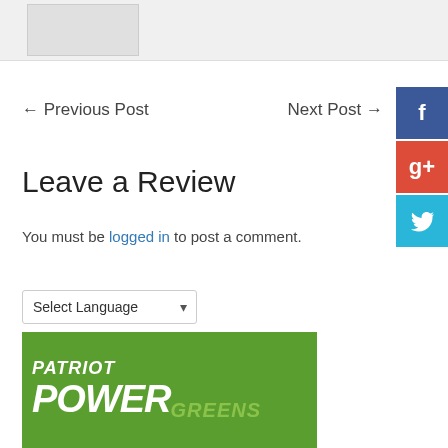[Figure (photo): Gray bar at top with thumbnail image placeholder]
← Previous Post
Next Post →
[Figure (logo): Facebook social share button (blue)]
[Figure (logo): Google+ social share button (red)]
[Figure (logo): Twitter social share button (cyan)]
Leave a Review
You must be logged in to post a comment.
Select Language
[Figure (photo): Patriot Power Greens product image on green background]